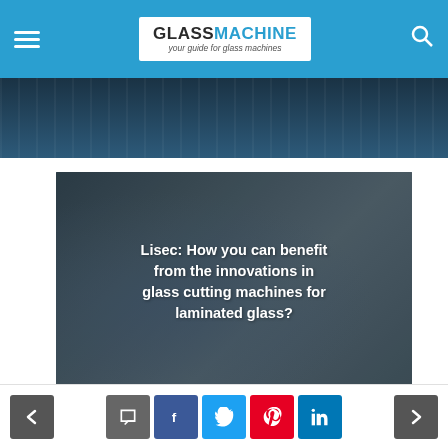GLASSMACHINE - your guide for glass machines
[Figure (photo): Dark blue tinted photo strip showing glass machinery/industrial setting]
[Figure (photo): Article card with dark overlay showing worker with glass. Title text reads: Lisec: How you can benefit from the innovations in glass cutting machines for laminated glass?]
Add Comment
Navigation and social share buttons: previous, comment, facebook, twitter, pinterest, linkedin, next